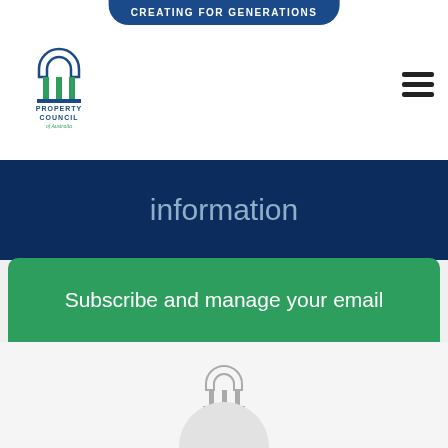[Figure (logo): Property Council of Australia logo top left, with arch and columns icon in blue and teal]
CREATING FOR GENERATIONS
[Figure (other): Hamburger menu icon (three horizontal lines)]
information
Subscribe and manage your email
[Figure (logo): Property Council of Australia logo centered in grey, with arch and columns icon]
[Figure (other): Partial white circle visible at bottom center]